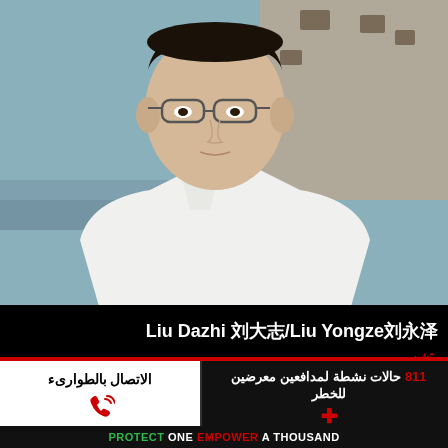[Figure (photo): Portrait photo of Liu Dazhi / Liu Yongze, a man wearing glasses and a white collared shirt, photographed outdoors near a stone building and water.]
Liu Dazhi 刘大志/Liu Yongze刘永泽
الاتصال بالطوارىء
811 حالات نشطة لمدافعين معرضين للخطر
PROTECT ONE EMPOWER A THOUSAND